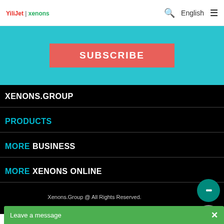YiliJet | xenons  🔍 English ≡
[Figure (screenshot): Teal/cyan subscribe banner with a coral-red SUBSCRIBE button]
XENONS.GROUP
PRODUCTS
MORE BUSINESS
MORE XENONS ONLINE
Xenons.Group @ All Rights Reserved.
Leave a message